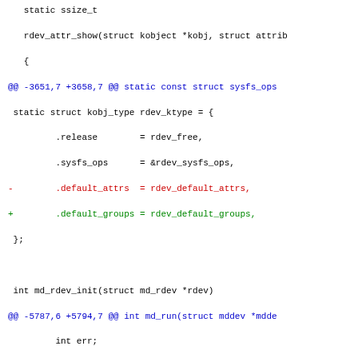Code diff showing changes to md.c kernel driver file including sysfs_ops, rdev_ktype, and md_run function modifications with nowait bool addition